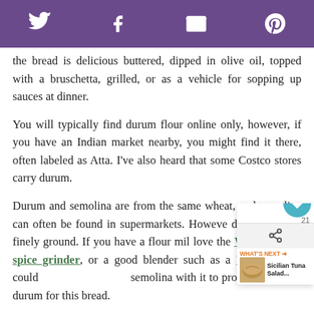[Social share icons: Twitter, Facebook, Email, Pinterest]
the bread is delicious buttered, dipped in olive oil, topped with a bruschetta, grilled, or as a vehicle for sopping up sauces at dinner.
You will typically find durum flour online only, however, if you have an Indian market nearby, you might find it there, often labeled as Atta. I've also heard that some Costco stores carry durum.
Durum and semolina are from the same wheat, and semolina can often be found in supermarkets. However, durum is more finely ground. If you have a flour mill (I love the WonderMill), spice grinder, or a good blender such as a Vitamix, you could grind the semolina with it to produce the finer durum for this bread.